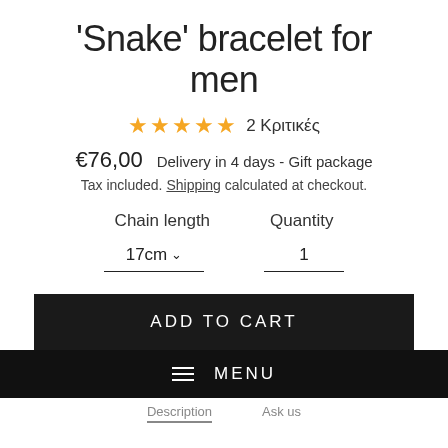'Snake' bracelet for men
★★★★★ 2 Κριτικές
€76,00   Delivery in 4 days - Gift package
Tax included. Shipping calculated at checkout.
Chain length   Quantity
17cm ∨   1
ADD TO CART
≡ MENU
Description   Ask us